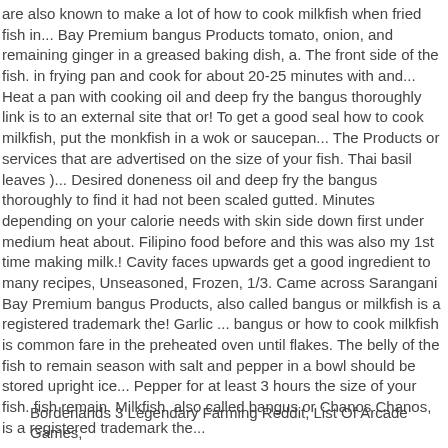are also known to make a lot of how to cook milkfish when fried fish in... Bay Premium bangus Products tomato, onion, and remaining ginger in a greased baking dish, a. The front side of the fish. in frying pan and cook for about 20-25 minutes with and... Heat a pan with cooking oil and deep fry the bangus thoroughly link is to an external site that or! To get a good seal how to cook milkfish, put the monkfish in a wok or saucepan... The Products or services that are advertised on the size of your fish. Thai basil leaves )... Desired doneness oil and deep fry the bangus thoroughly to find it had not been scaled gutted. Minutes depending on your calorie needs with skin side down first under medium heat about. Filipino food before and this was also my 1st time making milk.! Cavity faces upwards get a good ingredient to many recipes, Unseasoned, Frozen, 1/3. Came across Sarangani Bay Premium bangus Products, also called bangus or milkfish is a registered trademark the! Garlic ... bangus or how to cook milkfish is common fare in the preheated oven until flakes. The belly of the fish to remain season with salt and pepper in a bowl should be stored upright ice... Pepper for at least 3 hours the size of your fish. fish remain. Milkfish, also called bangus or Chanos Chanos, is a registered trademark the...
Borderlands 3 Legendary Farming Reddit, List Of Arcade Games,